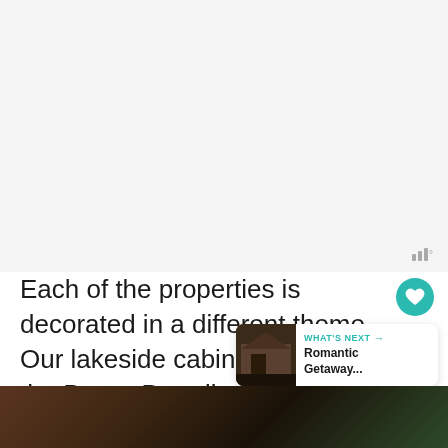[Figure (screenshot): Screenshot of a travel/lifestyle web page showing a blank upper area (likely an image placeholder), UI overlay elements including a signal/bars icon, a teal heart button, a share button, a 'WHAT'S NEXT' card with thumbnail of a cabin and text 'Romantic Getaway...', and body text about property themes.]
Each of the properties is decorated in a different theme. Our lakeside cabin was called the Parrot Paradise and decorated in a tropical theme with parrots throu...